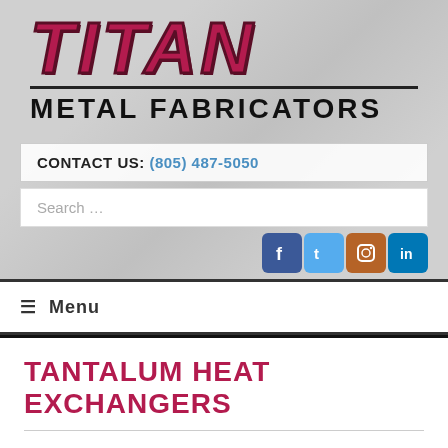[Figure (logo): Titan Metal Fabricators logo with large red italic TITAN text and black METAL FABRICATORS subtitle on grey textured background]
CONTACT US: (805) 487-5050
Search …
[Figure (other): Social media icons: Facebook, Twitter, Instagram, LinkedIn]
≡ Menu
TANTALUM HEAT EXCHANGERS
Consider a Tantalum Heat Exchanger or Tantalum process